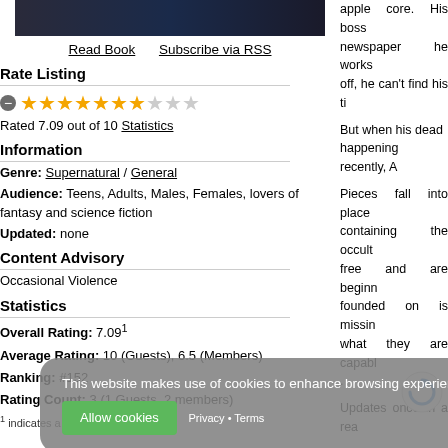[Figure (screenshot): Book cover thumbnail, dark background with text]
Read Book   Subscribe via RSS
Rate Listing
⊖ ★★★★★★★☆☆☆ (7 filled stars, 3 empty)
Rated 7.09 out of 10 Statistics
Information
Genre: Supernatural / General
Audience: Teens, Adults, Males, Females, lovers of fantasy and science fiction
Updated: none
Content Advisory
Occasional Violence
Statistics
Overall Rating: 7.09¹
Average Rating: 10 (Guests), 6.5 (Members)
Ranking: #152
Rating Count: 3 (1 Guests, 2 members)
¹ indicates a weighted rating.
apple core. His boss newspaper he works off, he can't find his ti
But when his dead happening recently, A
Pieces fall into place containing the occult free and are beginn founded on is missin what they are capabl .
Updates once in a rea
Tags
The Grim
Reviews
This website makes use of cookies to enhance browsing experience and provide additional functionality. The Grim Allow cookies Privacy · Terms
[Figure (logo): reCAPTCHA icon]